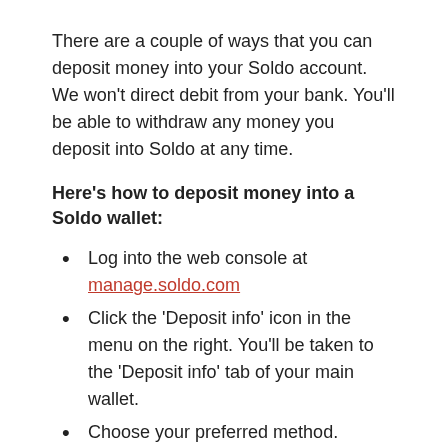There are a couple of ways that you can deposit money into your Soldo account. We won't direct debit from your bank. You'll be able to withdraw any money you deposit into Soldo at any time.
Here's how to deposit money into a Soldo wallet:
Log into the web console at manage.soldo.com
Click the 'Deposit info' icon in the menu on the right. You'll be taken to the 'Deposit info' tab of your main wallet.
Choose your preferred method.
Which transfer methods are available?
Direct Deposit (GBP only)
Within Soldo's web console, a direct deposit lets you make a secure money transfer into your main wallet, directly out of